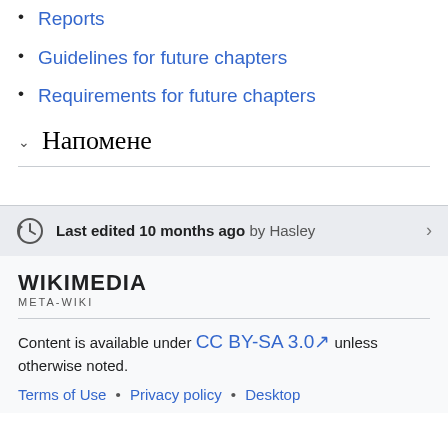Reports
Guidelines for future chapters
Requirements for future chapters
Напомене
Last edited 10 months ago by Hasley
[Figure (logo): Wikimedia Meta-Wiki logo wordmark]
Content is available under CC BY-SA 3.0 unless otherwise noted.
Terms of Use • Privacy policy • Desktop